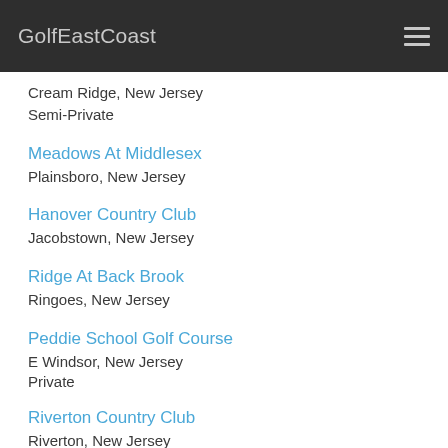GolfEastCoast
Cream Ridge, New Jersey
Semi-Private
Meadows At Middlesex
Plainsboro, New Jersey
Hanover Country Club
Jacobstown, New Jersey
Ridge At Back Brook
Ringoes, New Jersey
Peddie School Golf Course
E Windsor, New Jersey
Private
Riverton Country Club
Riverton, New Jersey
Private